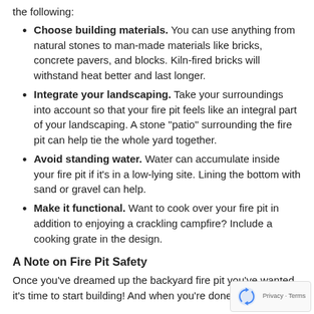the following:
Choose building materials. You can use anything from natural stones to man-made materials like bricks, concrete pavers, and blocks. Kiln-fired bricks will withstand heat better and last longer.
Integrate your landscaping. Take your surroundings into account so that your fire pit feels like an integral part of your landscaping. A stone "patio" surrounding the fire pit can help tie the whole yard together.
Avoid standing water. Water can accumulate inside your fire pit if it's in a low-lying site. Lining the bottom with sand or gravel can help.
Make it functional. Want to cook over your fire pit in addition to enjoying a crackling campfire? Include a cooking grate in the design.
A Note on Fire Pit Safety
Once you've dreamed up the backyard fire pit you've wanted, it's time to start building! And when you're done, you